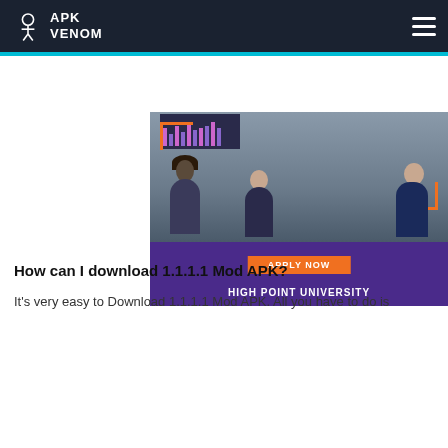APK VENOM
[Figure (photo): High Point University advertisement banner with meeting room photo and 'APPLY NOW' button]
How can I download 1.1.1.1 Mod APK?
It's very easy to Download 1.1.1.1 Mod APK. All you have to do is
[Figure (photo): Vrbo advertisement banner showing a vacation cabin home with tagline 'VACATION HOMES FOR WHOEVER YOU CALL FAMILY' and a 'BOOK NOW' button]